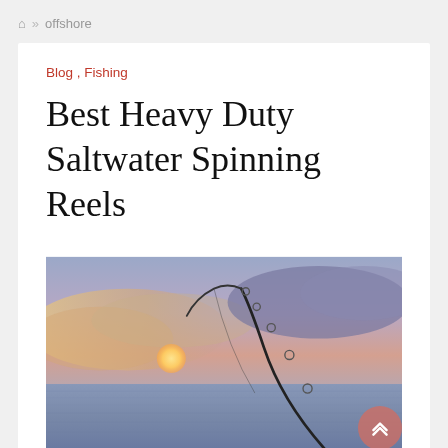Home » offshore
Blog , Fishing
Best Heavy Duty Saltwater Spinning Reels
[Figure (photo): A bent fishing rod arched over ocean water at sunset, with pink and purple clouds in the sky and the sun partially visible on the horizon.]